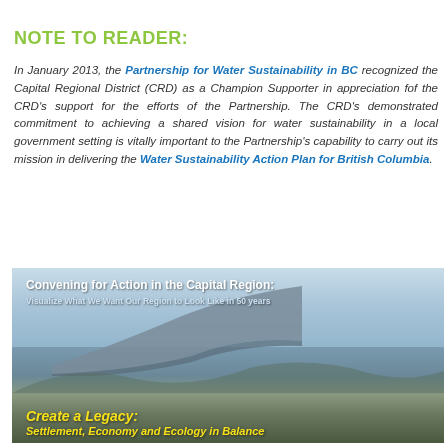NOTE TO READER:
In January 2013, the Partnership for Water Sustainability in BC recognized the Capital Regional District (CRD) as a Champion Supporter in appreciation fof the CRD's support for the efforts of the Partnership. The CRD's demonstrated commitment to achieving a shared vision for water sustainability in a local government setting is vitally important to the Partnership's capability to carry out its mission in delivering the Water Sustainability Action Plan for British Columbia.
[Figure (photo): Aerial photograph of a city/region with airplane wing visible in foreground. Overlay text reads: 'Convening for Action in the Capital Region: Visualize What We Want Our Region to Look Like in 50 years' at top, and 'Create a Legacy: Settlement, Economy and Ecology in Balance' at bottom in yellow italic text.]